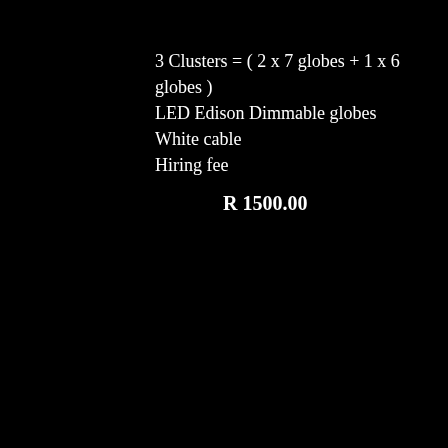3 Clusters = ( 2 x 7 globes + 1 x 6 globes )
LED Edison Dimmable globes
White cable
Hiring fee
R 1500.00